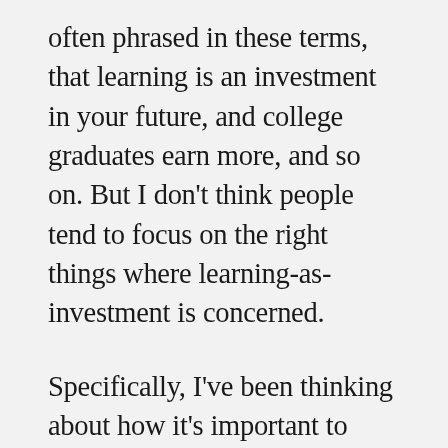often phrased in these terms, that learning is an investment in your future, and college graduates earn more, and so on. But I don't think people tend to focus on the right things where learning-as-investment is concerned.
Specifically, I've been thinking about how it's important to invest as much as possible early on, since the returns of that investment will compound greatly over time. It takes a lot of time and dedicated